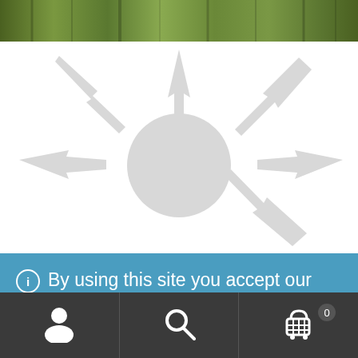[Figure (photo): A header banner image showing a forest/trees scene in green tones]
[Figure (logo): A large light gray watermark logo showing a round shape with multiple arrows radiating outward in different directions]
By using this site you accept our robot overlords are watching you. :) Many water products are out of stock. We are waiting for parts.
Dismiss
[Figure (infographic): Bottom navigation bar with three icons: user/person icon, search/magnifying glass icon, and shopping cart icon with badge showing 0]